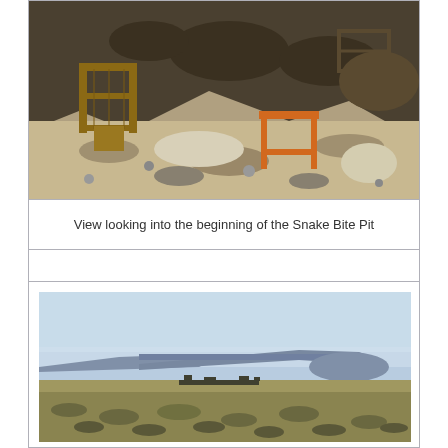[Figure (photo): View of a rocky excavation pit area with wooden frames/screens and an orange wooden stool/stand on rocky light-colored ground with dark rocky hillside in background]
View looking into the beginning of the Snake Bite Pit
[Figure (photo): Wide landscape view of flat desert scrubland with a distant flat-topped mesa/table mountain under a hazy blue sky, with small structures or vehicles visible in the middle distance]